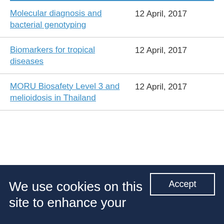Molecular diagnosis and bacterial genotyping    12 April, 2017
Biomarkers for tropical diseases    12 April, 2017
MORU Biosafety Level 3 and melioidosis in Thailand    12 April, 2017
We use cookies on this site to enhance your
Accept